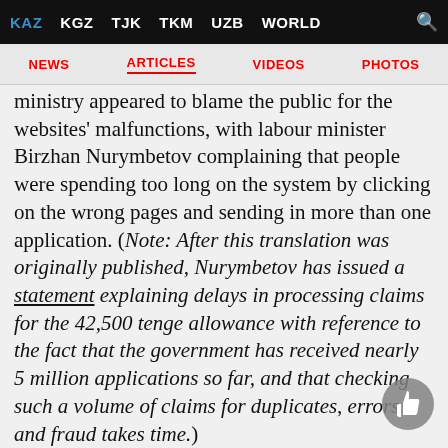KAZ  KGZ  TJK  TKM  UZB  WORLD
NEWS  ARTICLES  VIDEOS  PHOTOS
ministry appeared to blame the public for the websites' malfunctions, with labour minister Birzhan Nurymbetov complaining that people were spending too long on the system by clicking on the wrong pages and sending in more than one application. (Note: After this translation was originally published, Nurymbetov has issued a statement explaining delays in processing claims for the 42,500 tenge allowance with reference to the fact that the government has received nearly 5 million applications so far, and that checking such a volume of claims for duplicates, errors and fraud takes time.)